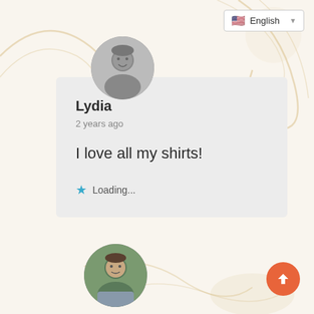[Figure (screenshot): Language selector dropdown button showing US flag and 'English' text with dropdown arrow]
[Figure (photo): Circular profile photo of a person (grayscale/muted tones), top avatar]
Lydia
2 years ago
I love all my shirts!
Loading...
[Figure (photo): Circular profile photo of a person outdoors, bottom avatar]
[Figure (illustration): Orange circular scroll-to-top button with upward arrow icon]